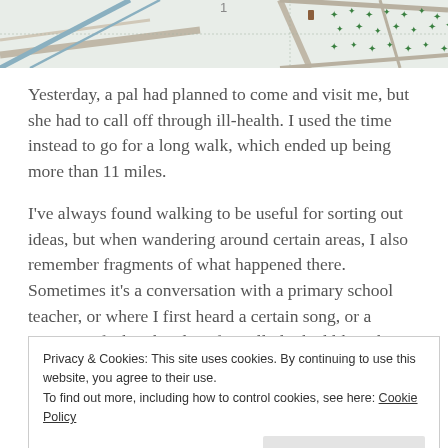[Figure (map): Top portion of a street/OS map showing roads, paths, and green tree symbols on a light background.]
Yesterday, a pal had planned to come and visit me, but she had to call off through ill-health. I used the time instead to go for a long walk, which ended up being more than 11 miles.
I've always found walking to be useful for sorting out ideas, but when wandering around certain areas, I also remember fragments of what happened there. Sometimes it's a conversation with a primary school teacher, or where I first heard a certain song, or a memory of what the place formally looked like. There's even an area of town I
Privacy & Cookies: This site uses cookies. By continuing to use this website, you agree to their use.
To find out more, including how to control cookies, see here: Cookie Policy
Close and accept
hold some about what taste become obtain the